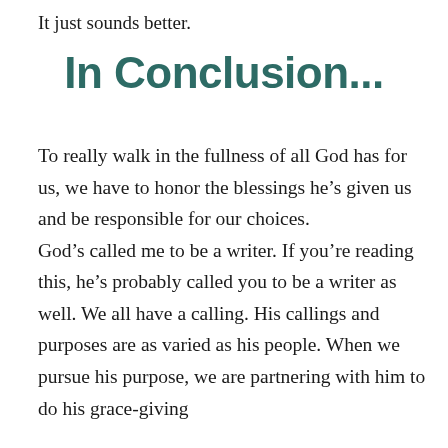It just sounds better.
In Conclusion...
To really walk in the fullness of all God has for us, we have to honor the blessings he’s given us and be responsible for our choices. God’s called me to be a writer. If you’re reading this, he’s probably called you to be a writer as well. We all have a calling. His callings and purposes are as varied as his people. When we pursue his purpose, we are partnering with him to do his grace-giving